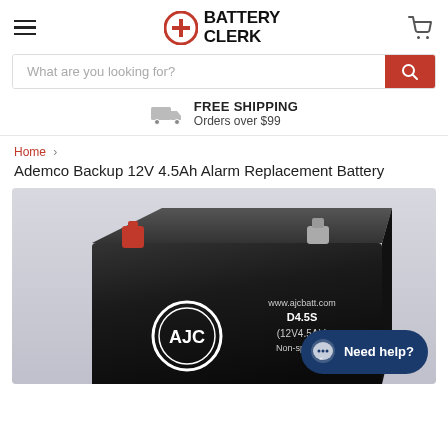Battery Clerk
What are you looking for?
FREE SHIPPING
Orders over $99
Home > Ademco Backup 12V 4.5Ah Alarm Replacement Battery
Ademco Backup 12V 4.5Ah Alarm Replacement Battery
[Figure (photo): AJC black 12V 4.5Ah rechargeable sealed lead acid battery with red positive terminal and silver negative terminal, labeled www.ajcbatt.com D4.5S (12V4.5Ah) Non-spillable]
Need help?